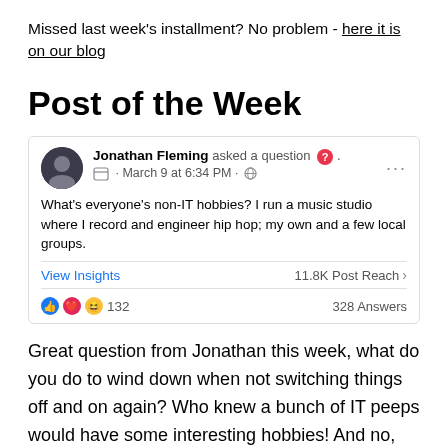Missed last week's installment? No problem - here it is on our blog
Post of the Week
[Figure (screenshot): Facebook post screenshot: Jonathan Fleming asked a question, March 9 at 6:34 PM. Post text: What's everyone's non-IT hobbies? I run a music studio where I record and engineer hip hop; my own and a few local groups. View Insights, 11.8K Post Reach, 132 reactions, 328 Answers.]
Great question from Jonathan this week, what do you do to wind down when not switching things off and on again? Who knew a bunch of IT peeps would have some interesting hobbies! And no, sleeping doesn't